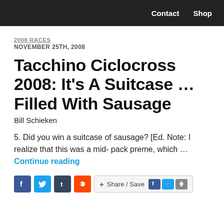Contact  Shop
2008 RACES
NOVEMBER 25TH, 2008
Tacchino Ciclocross 2008: It's A Suitcase … Filled With Sausage
Bill Schieken
5. Did you win a suitcase of sausage? [Ed. Note: I realize that this was a mid- pack preme, which … Continue reading
[Figure (other): Social sharing bar with Facebook, Twitter, Tumblr, Reddit icons and Share/Save button]